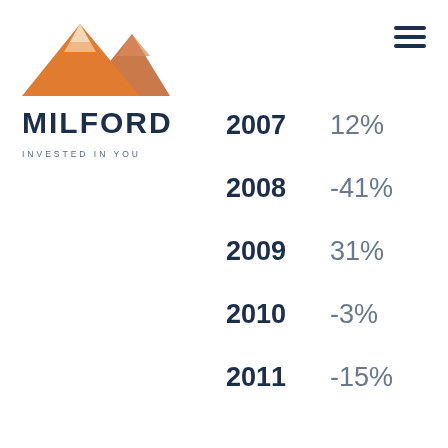[Figure (logo): Milford mountain logo with orange/brown mountain illustration above the text MILFORD and tagline INVESTED IN YOU]
MILFORD
INVESTED IN YOU
| Year | Return |
| --- | --- |
| 2007 | 12% |
| 2008 | -41% |
| 2009 | 31% |
| 2010 | -3% |
| 2011 | -15% |